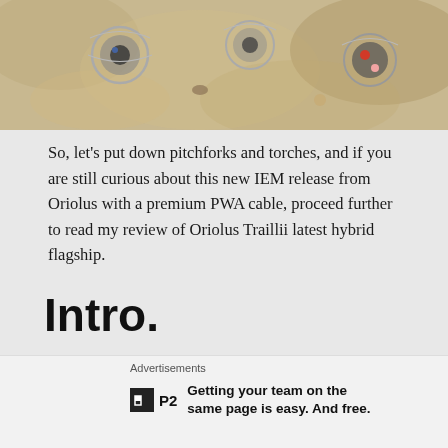[Figure (photo): Top-down photo of multiple in-ear monitor (IEM) headphones with decorative wire nests and gemstone accents arranged on a granite/stone surface]
So, let’s put down pitchforks and torches, and if you are still curious about this new IEM release from Oriolus with a premium PWA cable, proceed further to read my review of Oriolus Traillii latest hybrid flagship.
Intro.
Actually, this review feels a bit like a déjà vu from 2018 when I visited Oriolus/Hyla table at CanJam NYC and heard Oriolus Mellianus for the first time.  I couldn’t get its tuning out of my head and just had to review it.  Now, 3 years later, I continue to use and to feature Mellianus in a number of my reviews as
Advertisements
[Figure (logo): P2 logo: black square with white letter H and P2 text beside it, with ad copy: Getting your team on the same page is easy. And free.]